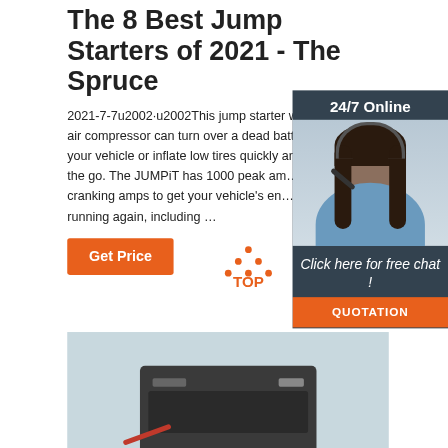The 8 Best Jump Starters of 2021 - The Spruce
2021-7-7u2002·u2002This jump starter with an air compressor can turn over a dead battery in your vehicle or inflate low tires quickly and on the go. The JUMPiT has 1000 peak am… 500 cranking amps to get your vehicle's en… running again, including …
[Figure (infographic): Chat support widget showing '24/7 Online', a woman wearing a headset, text 'Click here for free chat!', and an orange QUOTATION button]
[Figure (photo): Light blue/grey background with a partial view of a jump starter device at the bottom]
[Figure (logo): Orange dotted triangle above text 'TOP' in orange - a 'back to top' button]